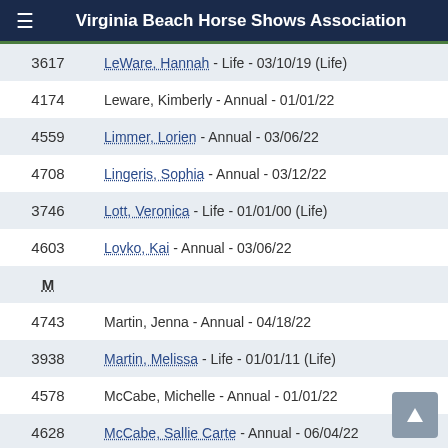Virginia Beach Horse Shows Association
| ID | Member Info |
| --- | --- |
| 3617 | LeWare, Hannah - Life - 03/10/19 (Life) |
| 4174 | Leware, Kimberly - Annual - 01/01/22 |
| 4559 | Limmer, Lorien - Annual - 03/06/22 |
| 4708 | Lingeris, Sophia - Annual - 03/12/22 |
| 3746 | Lott, Veronica - Life - 01/01/00 (Life) |
| 4603 | Lovko, Kai - Annual - 03/06/22 |
| M |  |
| 4743 | Martin, Jenna - Annual - 04/18/22 |
| 3938 | Martin, Melissa - Life - 01/01/11 (Life) |
| 4578 | McCabe, Michelle - Annual - 01/01/22 |
| 4628 | McCabe, Sallie Carte - Annual - 06/04/22 |
| 3622 | McCabe, Lauren - Life - 01/15/21 (Life) |